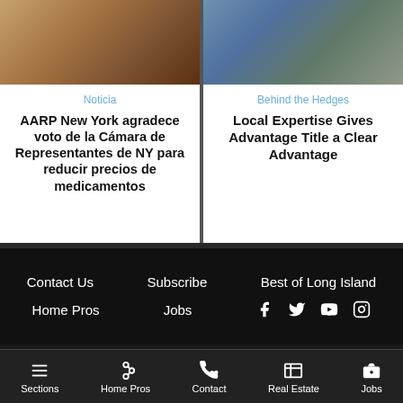[Figure (photo): Close-up photo of hands, brownish tones, top-left card image]
[Figure (photo): Two people standing, man in suit and woman in blue shirt, top-right card image]
Noticia
AARP New York agradece voto de la Cámara de Representantes de NY para reducir precios de medicamentos
Behind the Hedges
Local Expertise Gives Advantage Title a Clear Advantage
Contact Us   Subscribe   Best of Long Island   Home Pros   Jobs
Sections   Home Pros   Contact   Real Estate   Jobs